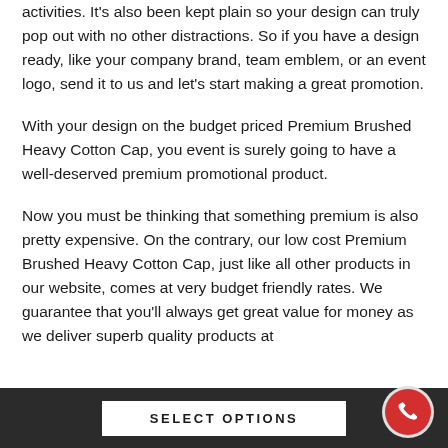activities. It's also been kept plain so your design can truly pop out with no other distractions. So if you have a design ready, like your company brand, team emblem, or an event logo, send it to us and let's start making a great promotion.
With your design on the budget priced Premium Brushed Heavy Cotton Cap, you event is surely going to have a well-deserved premium promotional product.
Now you must be thinking that something premium is also pretty expensive. On the contrary, our low cost Premium Brushed Heavy Cotton Cap, just like all other products in our website, comes at very budget friendly rates. We guarantee that you'll always get great value for money as we deliver superb quality products at
SELECT OPTIONS